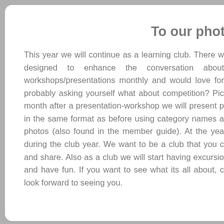To our phot
This year we will continue as a learning club. There w designed to enhance the conversation about workshops/presentations monthly and would love for probably asking yourself what about competition? Pic month after a presentation-workshop we will present p in the same format as before using category names a photos (also found in the member guide). At the yea during the club year. We want to be a club that you c and share. Also as a club we will start having excursio and have fun. If you want to see what its all about, c look forward to seeing you.